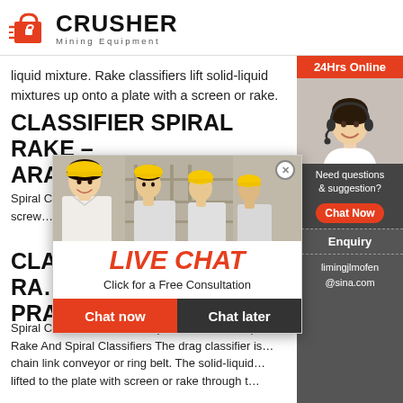[Figure (logo): Crusher Mining Equipment logo with red shopping bag icon and bold CRUSHER text]
liquid mixture. Rake classifiers lift solid-liquid mixtures up onto a plate with a screen or rake.
CLASSIFIER SPIRAL RAKE – ARAKON-TVGENIAL D…
Spiral Class… 2018 In Mi… other hand r… spiral, screw…
CLASSIFIER SPIRAL RAKE… PRAVY-MED.CZ
Spiral Classifier Rake And Spiral Classifiers. Spi… Rake And Spiral Classifiers The drag classifier is… chain link conveyor or ring belt. The solid-liquid… lifted to the plate with screen or rake through t…
[Figure (screenshot): Live chat popup overlay with workers in helmets photo, LIVE CHAT heading in red italic, Click for a Free Consultation subtitle, Chat now and Chat later buttons]
[Figure (photo): Customer service representative with headset on right sidebar]
24Hrs Online
Need questions & suggestion?
Chat Now
Enquiry
limingjlmofen@sina.com